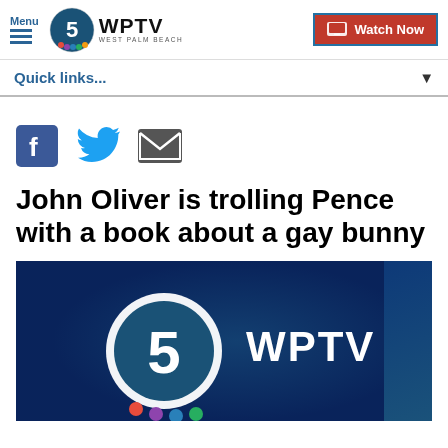[Figure (logo): WPTV Channel 5 West Palm Beach logo with circular 5 icon and NBC peacock, plus Watch Now button]
Quick links...
[Figure (infographic): Social sharing icons: Facebook (blue square with f), Twitter (blue bird), Email (grey envelope)]
John Oliver is trolling Pence with a book about a gay bunny
[Figure (screenshot): WPTV Channel 5 news station logo on dark blue background as video thumbnail]